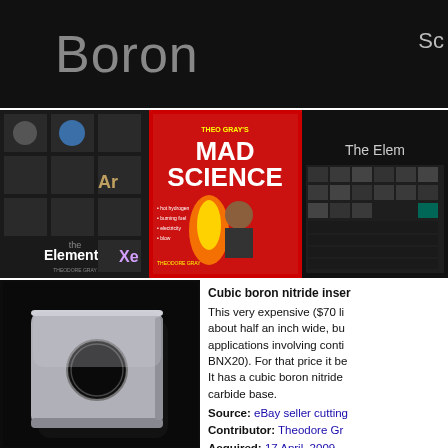Boron
[Figure (photo): Black header banner with 'Boron' title text in gray and 'Sc' partial text on the right]
[Figure (photo): Row of three book/product covers: 'The Elements' by Theodore Gray, 'Mad Science' book, and 'The Elements' periodic table poster]
[Figure (photo): Cubic boron nitride insert - a square metallic piece with a circular hole, photographed on black background]
Cubic boron nitride insert. This very expensive ($70 li about half an inch wide, but applications involving conti BNX20). For that price it be It has a cubic boron nitride carbide base.
Source: eBay seller cutting
Contributor: Theodore Gr
Acquired: 17 April, 2009
Text Updated: 17 April, 20
Price: $20